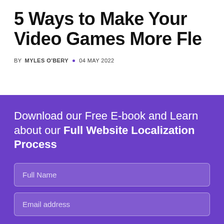5 Ways to Make Your Video Games More Fle
BY MYLES O'BERY · 04 MAY 2022
Download our Free E-book and Learn about our Full Website Localization Process
Full Name
Email address